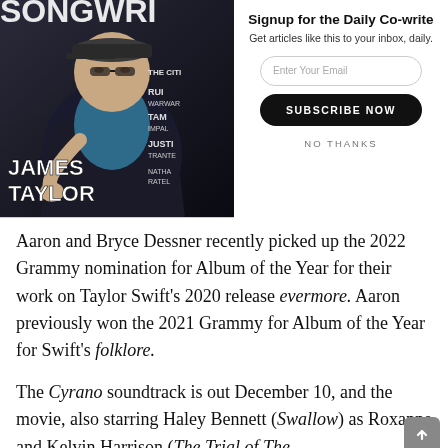[Figure (photo): Magazine cover showing a man (James Taylor) seated, wearing a dark jacket and cap, against a dark background. White text reads JAMES TAYLOR. Partially visible magazine title and other text including RUIN, WARWAR, TAM, IMPALA, JUSTI, TRANTER, NATHA, RATEL]
Signup for the Daily Co-write
Get articles like this to your inbox, daily.
Enter Your Email
SUBSCRIBE NOW
NO THANKS
Aaron and Bryce Dessner recently picked up the 2022 Grammy nomination for Album of the Year for their work on Taylor Swift's 2020 release evermore. Aaron previously won the 2021 Grammy for Album of the Year for Swift's folklore.
The Cyrano soundtrack is out December 10, and the movie, also starring Haley Bennett (Swallow) as Roxanne and Kelvin Harrison (The Trial of The